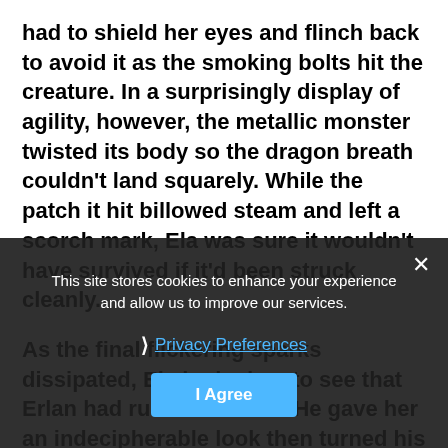had to shield her eyes and flinch back to avoid it as the smoking bolts hit the creature. In a surprisingly display of agility, however, the metallic monster twisted its body so the dragon breath couldn't land squarely. While the patch it hit billowed steam and left a scorch mark, Ela was sure it wouldn't have survived if it'd been struck cleanly.
As the final flickering sparks dissipated, Ela looked up to see that Erlan had run to her side. He gave her an indecipherable look then turned his back on her, placing himself between her and the tree. He began to mutter a spell, a small ember appearing in the air between his hands, when Ela cried out—
“Erlan, please!”
His incantation faltered as her words made him hesitate. The moment he stopped speaking, the building spelt fizzled out. He turned to speak to the
This site stores cookies to enhance your experience and allow us to improve our services.
Privacy Preferences
I Agree